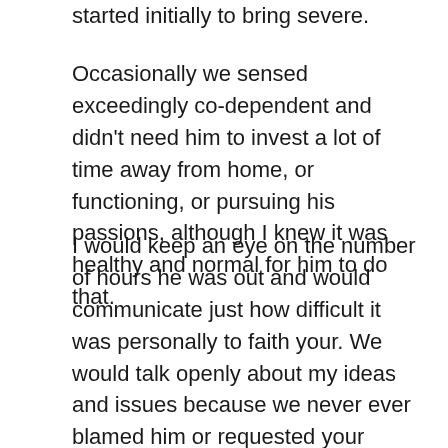started initially to bring severe.
Occasionally we sensed exceedingly co-dependent and didn't need him to invest a lot of time away from home, or functioning, or pursuing his passions, although I knew it was healthy and normal for him to do that.
I would keep an eye on the number of hours he was out and would communicate just how difficult it was personally to faith your. We would talk openly about my ideas and issues because we never ever blamed him or requested your adjust his steps. I simply knew that I got to communicate what was going on in my situation in order to sort out my emotions and also for us to work together on treatment.